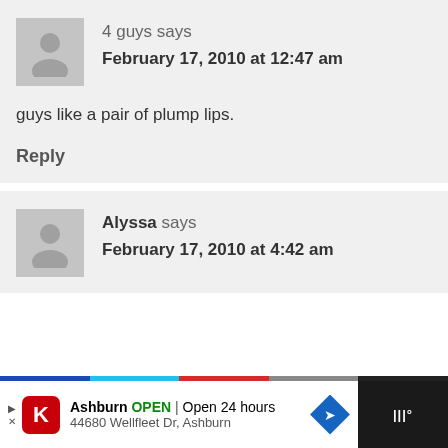4 guys says
February 17, 2010 at 12:47 am
guys like a pair of plump lips.
Reply
Alyssa says
February 17, 2010 at 4:42 am
[Figure (infographic): Advertisement bar: Ashburn OPEN | Open 24 hours, 44680 Wellfleet Dr, Ashburn with navigation icon]